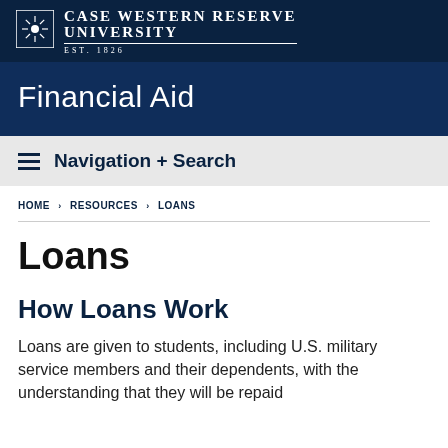[Figure (logo): Case Western Reserve University logo and wordmark on dark navy background]
Financial Aid
Navigation + Search
HOME › RESOURCES › LOANS
Loans
How Loans Work
Loans are given to students, including U.S. military service members and their dependents, with the understanding that they will be repaid